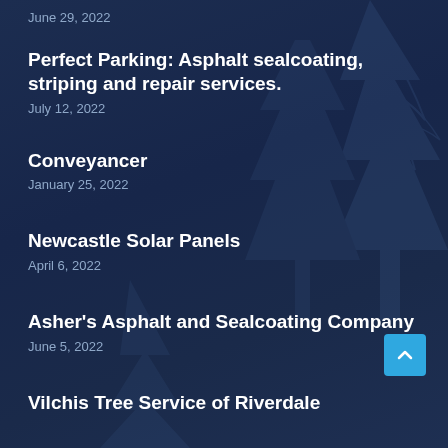June 29, 2022
Perfect Parking: Asphalt sealcoating, striping and repair services.
July 12, 2022
Conveyancer
January 25, 2022
Newcastle Solar Panels
April 6, 2022
Asher's Asphalt and Sealcoating Company
June 5, 2022
Vilchis Tree Service of Riverdale